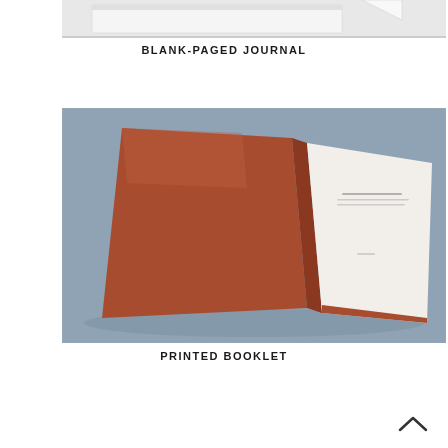[Figure (photo): Partial view of a blank-paged journal against a white background, showing the top edge of the book]
BLANK-PAGED JOURNAL
[Figure (photo): Open printed booklet lying flat on a dusty blue surface, showing a rust/terracotta red cover on the left and a white inner page with small printed text on the right]
PRINTED BOOKLET